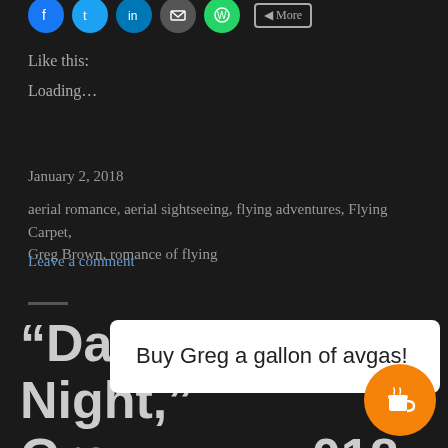[Figure (other): Social sharing icons row: Facebook (blue), Twitter (light blue), LinkedIn (dark blue), Email (gray), WhatsApp (green), and a More button]
Like this:
Loading...
January 2, 2018
aerial romance, aerial sightseeing, flying adventures, Flying Carpet, Greg Brown, romance of flying
Leave a comment
“Dark, Scary Night,” Gre… 018 Flyi…
Buy Greg a gallon of avgas!